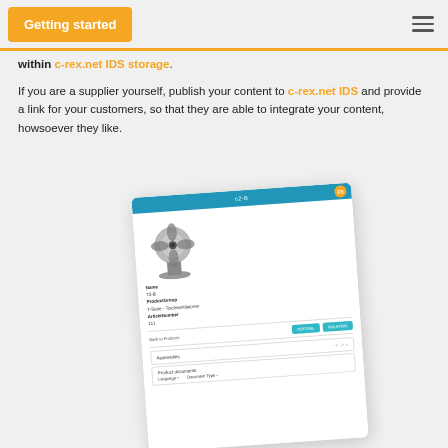Getting started
within c-rex.net IDS storage.
If you are a supplier yourself, publish your content to c-rex.net IDS and provide a link for your customers, so that they are able to integrate your content, howsoever they like.
[Figure (screenshot): Screenshot of a c-rex.net product detail page showing a desk fan, product attributes (Name: T2-B, ProductGroup: T-Serie - Tischventilatoren, ArticleNumber: 111), action buttons (PDF/XML, XML/HTML), and sections for Assemblies and Product documents with Language and Document Type columns.]